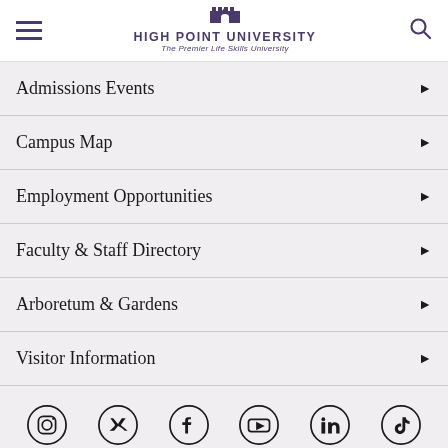High Point University — The Premier Life Skills University
Admissions Events
Campus Map
Employment Opportunities
Faculty & Staff Directory
Arboretum & Gardens
Visitor Information
[Figure (infographic): Social media icons row: Instagram, Twitter, Facebook, YouTube, LinkedIn, TikTok]